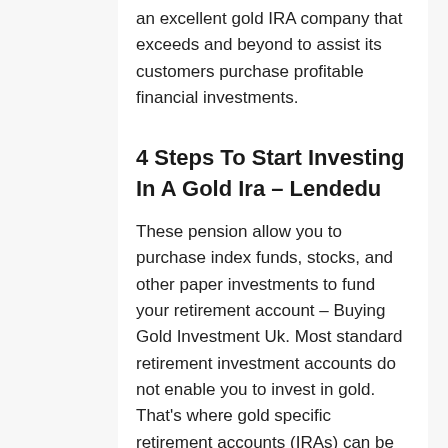an excellent gold IRA company that exceeds and beyond to assist its customers purchase profitable financial investments.
4 Steps To Start Investing In A Gold Ira – Lendedu
These pension allow you to purchase index funds, stocks, and other paper investments to fund your retirement account – Buying Gold Investment Uk. Most standard retirement investment accounts do not enable you to invest in gold. That's where gold specific retirement accounts (IRAs) can be found in. Gold IRA are specialized...